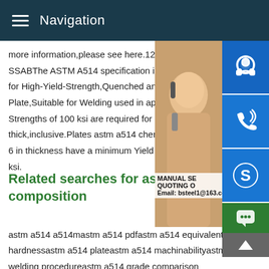Navigation
more information,please see here.12345NSSABThe ASTM A514 specification is the for High-Yield-Strength,Quenched and Tempered Alloy Plate,Suitable for Welding used in applications where Yield Strengths of 100 ksi are required for plates 2 1/2 in. thick,inclusive.Plates astm a514 chemical composition over 6 in thickness have a minimum Yield Strength of 90 ksi.
[Figure (photo): Customer service representative woman with headset, with contact icons (headset, phone, Skype) and overlay text: MANUAL SE, QUOTING O, Email: bsteel1@163.com]
Related searches for astm a514 chemical composition
astm a514 a514mastm a514 pdfastm a514 equivalentastm a514 hardnessastm a514 plateastm a514 machinabilityastm a514 welding procedureastm a514 grade comparison chartPrevious123456NextA-514Chemical Composition* % Weight Grade C Mn P S Si Ni Cr Mo Cu V Ti B Nucor restricts P S to b